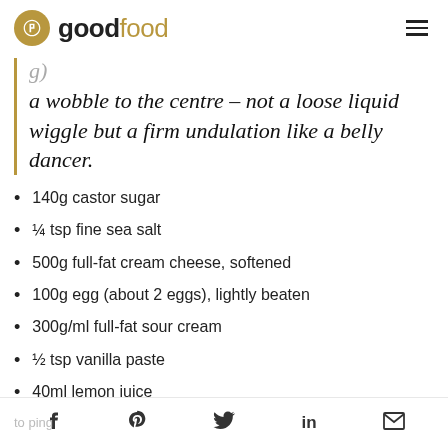goodfood
a wobble to the centre – not a loose liquid wiggle but a firm undulation like a belly dancer.
140g castor sugar
¼ tsp fine sea salt
500g full-fat cream cheese, softened
100g egg (about 2 eggs), lightly beaten
300g/ml full-fat sour cream
½ tsp vanilla paste
40ml lemon juice
to ping  f  p  twitter  in  mail